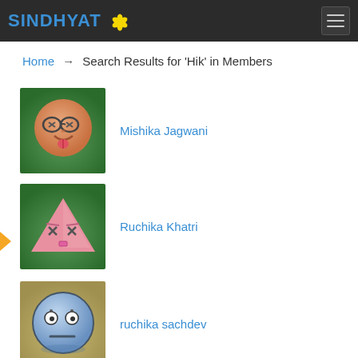SINDHYAT (logo with flower icon)
Home → Search Results for 'Hik' in Members
[Figure (illustration): Cartoon round face avatar with glasses and tongue out, brown/peach color, on green background — Mishika Jagwani profile picture]
Mishika Jagwani
[Figure (illustration): Cartoon pink downward-triangle face avatar with x eyes and small mouth, on green background — Ruchika Khatri profile picture]
Ruchika Khatri
[Figure (illustration): Cartoon round blue/grey face avatar with wide eyes and flat expression, on olive/tan background — ruchika sachdev profile picture]
ruchika sachdev